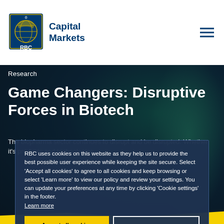[Figure (logo): RBC Capital Markets logo with lion shield and 'Capital Markets' text in blue]
Research
Game Changers: Disruptive Forces in Biotech
The biopharma sector continues to disrupt and be disrupted. Whether it's products and technologies, leadership, or regulatory policy, of the companies, technologies, and forces featured, some are leading the charge of disruption while others are grappling with the challenges. Some are already under way and some still to come.
RBC uses cookies on this website as they help us to provide the best possible user experience while keeping the site secure. Select 'Accept all cookies' to agree to all cookies and keep browsing or select 'Learn more' to view our policy and review your settings. You can update your preferences at any time by clicking 'Cookie settings' in the footer.
Learn more
Accept all cookies
Cookie Settings